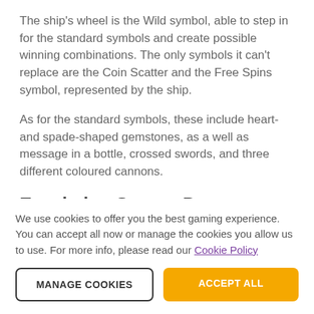The ship's wheel is the Wild symbol, able to step in for the standard symbols and create possible winning combinations. The only symbols it can't replace are the Coin Scatter and the Free Spins symbol, represented by the ship.
As for the standard symbols, these include heart- and spade-shaped gemstones, as a well as message in a bottle, crossed swords, and three different coloured cannons.
Escalating Scatter Pays
We use cookies to offer you the best gaming experience. You can accept all now or manage the cookies you allow us to use. For more info, please read our Cookie Policy